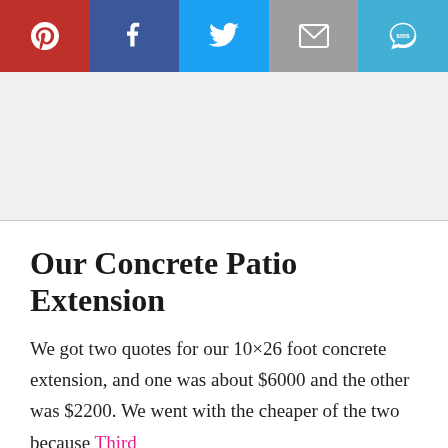[Figure (screenshot): Social media share bar with Pinterest (red), Facebook (dark blue), Twitter (light blue), Email (gray), and SMS (teal) buttons]
[Figure (other): Advertisement/blank gray area]
Our Concrete Patio Extension
We got two quotes for our 10×26 foot concrete extension, and one was about $6000 and the other was $2200. We went with the cheaper of the two because Third